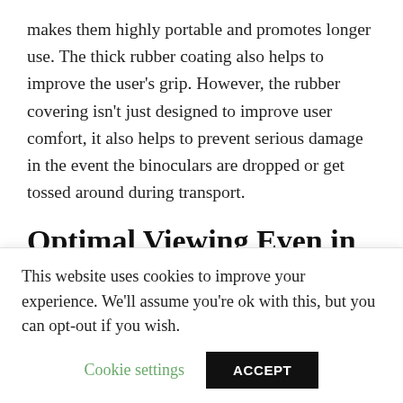makes them highly portable and promotes longer use. The thick rubber coating also helps to improve the user's grip. However, the rubber covering isn't just designed to improve user comfort, it also helps to prevent serious damage in the event the binoculars are dropped or get tossed around during transport.
Optimal Viewing Even in Weak Light Conditions
These binoculars can provide a crystal clear viewing
This website uses cookies to improve your experience. We'll assume you're ok with this, but you can opt-out if you wish.